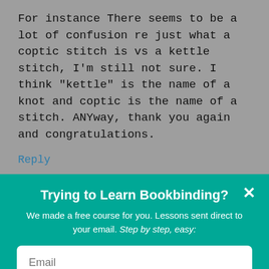For instance There seems to be a lot of confusion re just what a coptic stitch is vs a kettle stitch, I'm still not sure. I think "kettle" is the name of a knot and coptic is the name of a stitch. ANYway, thank you again and congratulations.
Reply
Trying to Learn Bookbinding?
We made a free course for you. Lessons sent direct to your email. Step by step, easy:
Email
ENROLL